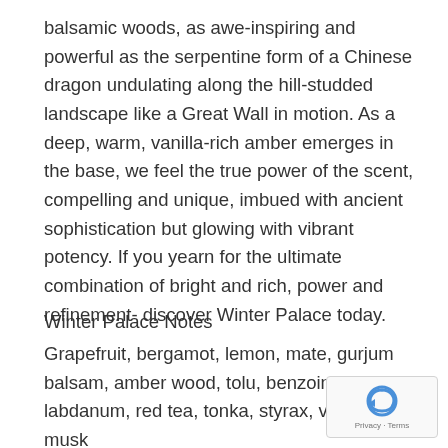balsamic woods, as awe-inspiring and powerful as the serpentine form of a Chinese dragon undulating along the hill-studded landscape like a Great Wall in motion. As a deep, warm, vanilla-rich amber emerges in the base, we feel the true power of the scent, compelling and unique, imbued with ancient sophistication but glowing with vibrant potency. If you yearn for the ultimate combination of bright and rich, power and refinement- discover Winter Palace today.
Winter Palace Notes
Grapefruit, bergamot, lemon, mate, gurjum balsam, amber wood, tolu, benzoin, labdanum, red tea, tonka, styrax, vanilla, musk
[Figure (other): reCAPTCHA badge with logo icon and Privacy · Terms text]